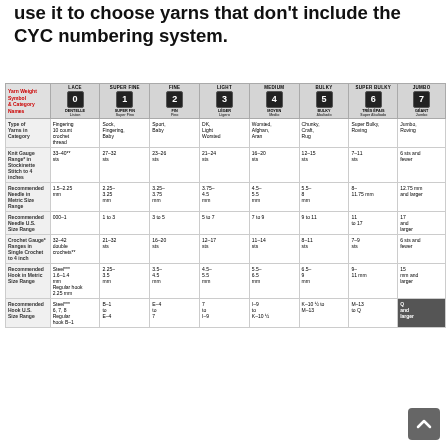use it to choose yarns that don't include the CYC numbering system.
| Yarn Weight Symbol & Category Names | LACE 0 | SUPER FINE 1 | FINE 2 | LIGHT 3 | MEDIUM 4 | BULKY 5 | SUPER BULKY 6 | JUMBO 7 |
| --- | --- | --- | --- | --- | --- | --- | --- | --- |
| Type of Yarns in Category | Fingering 10 count crochet thread | Sock, Fingering, Baby | Sport, Baby | DK, Light Worsted | Worsted, Afghan, Aran | Chunky, Craft, Rug | Super Bulky, Roving | Jumbo, Roving |
| Knit Gauge Range* in Stockinette Stitch to 4 inches | 33–40** sts | 27–32 sts | 23–26 sts | 21–24 sts | 16–20 sts | 12–15 sts | 7–11 sts | 6 sts and fewer |
| Recommended Needle in Metric Size Range | 1.5–2.25 mm | 2.25–3.25 mm | 3.25–3.75 mm | 3.75–4.5 mm | 4.5–5.5 mm | 5.5–8 mm | 8–11.75 mm | 12.75 mm and larger |
| Recommended Needle U.S. Size Range | 000–1 | 1 to 3 | 3 to 5 | 5 to 7 | 7 to 9 | 9 to 11 | 11 to 17 | 17 and larger |
| Crochet Gauge* Ranges in Single Crochet to 4 inch | 32–42 double crochets** | 21–32 sts | 16–20 sts | 12–17 sts | 11–14 sts | 8–11 sts | 7–9 sts | 6 sts and fewer |
| Recommended Hook in Metric Size Range | Steel*** 1.6–1.4 mm Regular hook 2.25 mm | 2.25–3.5 mm | 3.5–4.5 mm | 4.5–5.5 mm | 5.5–6.5 mm | 6.5–9 mm | 9–11 mm | 15 mm and larger |
| Recommended Hook U.S. Size Range | Steel*** 6, 7, 8 Regular hook B-1 | B-1 to E-4 | E-4 to 7 | 7 to I-9 | I-9 to K-10 ½ | K-10 ½ to M-13 | M-13 to Q | Q and larger |